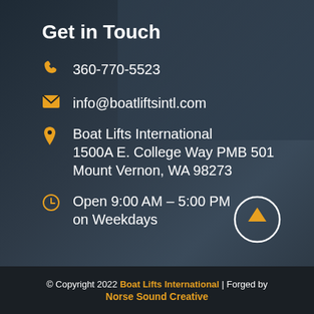Get in Touch
360-770-5523
info@boatliftsintl.com
Boat Lifts International 1500A E. College Way PMB 501 Mount Vernon, WA 98273
Open 9:00 AM – 5:00 PM on Weekdays
[Figure (illustration): Circle button with upward arrow in orange/gold color]
© Copyright 2022 Boat Lifts International | Forged by Norse Sound Creative